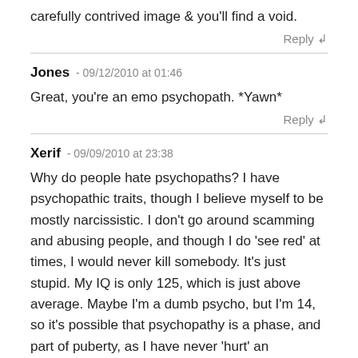carefully contrived image & you'll find a void.
Reply ↲
Jones - 09/12/2010 at 01:46
Great, you're an emo psychopath. *Yawn*
Reply ↲
Xerif - 09/09/2010 at 23:38
Why do people hate psychopaths? I have psychopathic traits, though I believe myself to be mostly narcissistic. I don't go around scamming and abusing people, and though I do 'see red' at times, I would never kill somebody. It's just stupid. My IQ is only 125, which is just above average. Maybe I'm a dumb psycho, but I'm 14, so it's possible that psychopathy is a phase, and part of puberty, as I have never 'hurt' an animal/bullied until my teens.
I do feel emotion, though only when its to do with me. I